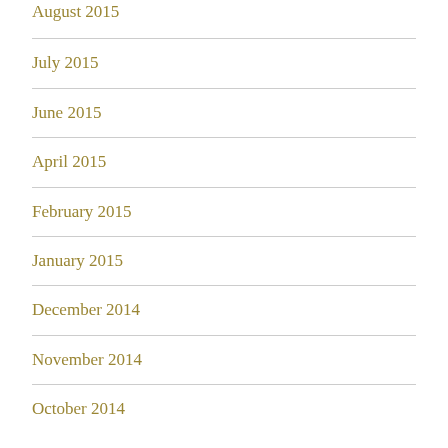August 2015
July 2015
June 2015
April 2015
February 2015
January 2015
December 2014
November 2014
October 2014